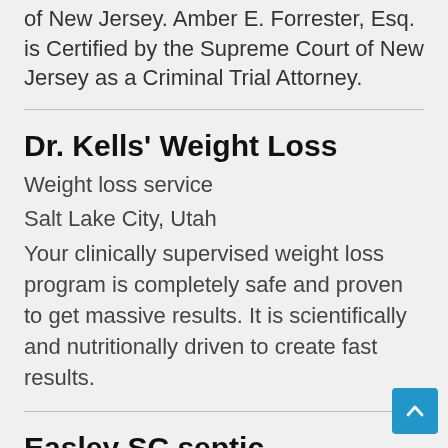of New Jersey. Amber E. Forrester, Esq. is Certified by the Supreme Court of New Jersey as a Criminal Trial Attorney.
Dr. Kells' Weight Loss
Weight loss service
Salt Lake City, Utah
Your clinically supervised weight loss program is completely safe and proven to get massive results. It is scientifically and nutritionally driven to create fast results.
Easley SC septic
Septic system service